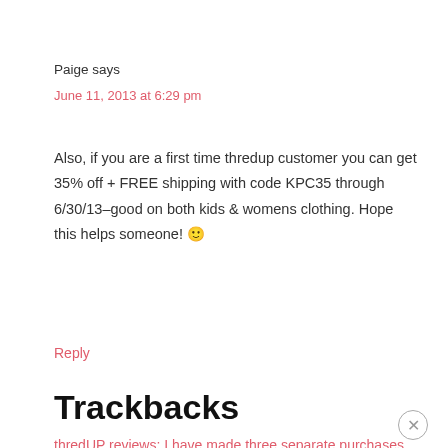Paige says
June 11, 2013 at 6:29 pm
Also, if you are a first time thredup customer you can get 35% off + FREE shipping with code KPC35 through 6/30/13–good on both kids & womens clothing. Hope this helps someone! 🙂
Reply
Trackbacks
thredUP reviews: I have made three separate purchases from ThredUp and been very happy with